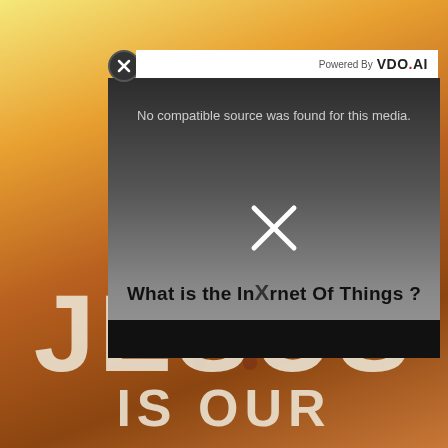[Figure (screenshot): Background image showing a movie or book cover with the text 'JESUS IS OUR' in large letters, with a person in red and blue clothing, orange/golden toned background]
[Figure (screenshot): Video player popup overlay with 'Powered By VDO.AI' header bar, a close (X) button, dark gray video area showing error message 'No compatible source was found for this media.' with bold text 'What is the Internet Of Things?' and an X mark over the video, and a black bottom control bar]
No compatible source was found for this media.
What is the Internet Of Things ?